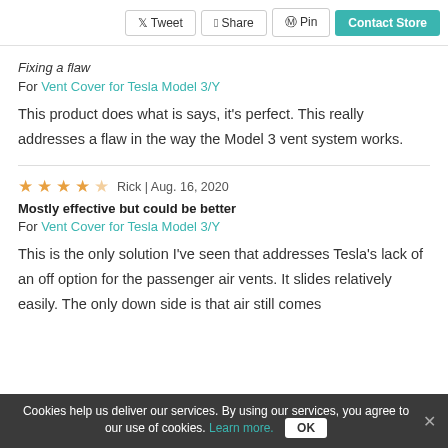Tweet | Share | Pin | Contact Store
Fixing a flaw
For Vent Cover for Tesla Model 3/Y
This product does what is says, it's perfect. This really addresses a flaw in the way the Model 3 vent system works.
★★★★½  Rick | Aug. 16, 2020
Mostly effective but could be better
For Vent Cover for Tesla Model 3/Y
This is the only solution I've seen that addresses Tesla's lack of an off option for the passenger air vents. It slides relatively easily. The only down side is that air still comes
Cookies help us deliver our services. By using our services, you agree to our use of cookies. Learn more.  OK